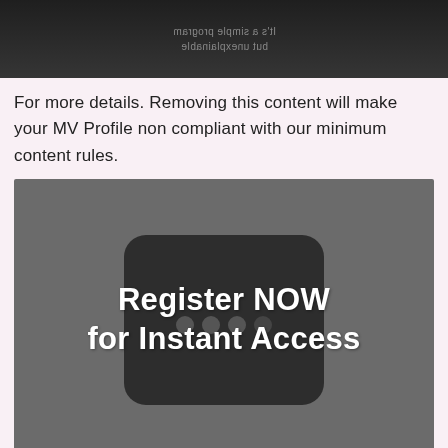[Figure (photo): Top cropped dark image showing mirrored/reversed text overlay reading 'It's a simple program but unexplainable']
For more details. Removing this content will make your MV Profile non compliant with our minimum content rules.
[Figure (photo): Dark grey promotional image with a rounded square device/lock icon in the center and bold white text reading 'Register NOW for Instant Access']